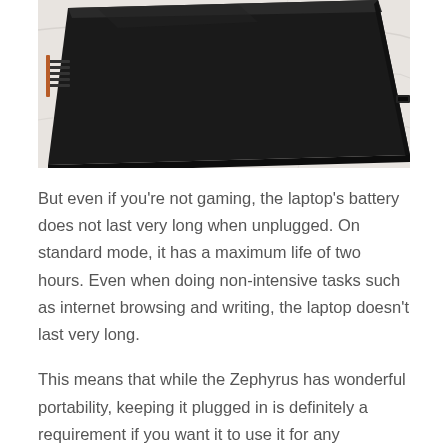[Figure (photo): Close-up photo of a dark/black laptop lid closed, sitting on a white marble surface. The laptop appears to be a gaming laptop with vents visible on the left side.]
But even if you're not gaming, the laptop's battery does not last very long when unplugged. On standard mode, it has a maximum life of two hours. Even when doing non-intensive tasks such as internet browsing and writing, the laptop doesn't last very long.
This means that while the Zephyrus has wonderful portability, keeping it plugged in is definitely a requirement if you want it to use it for any